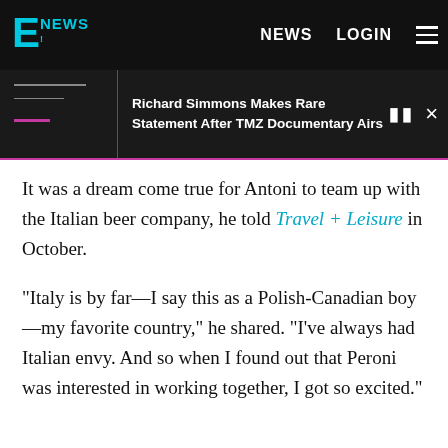E! NEWS   NEWS   LOGIN
Richard Simmons Makes Rare Statement After TMZ Documentary Airs
It was a dream come true for Antoni to team up with the Italian beer company, he told Travel + Leisure in October.
"Italy is by far—I say this as a Polish-Canadian boy—my favorite country," he shared. "I've always had Italian envy. And so when I found out that Peroni was interested in working together, I got so excited."